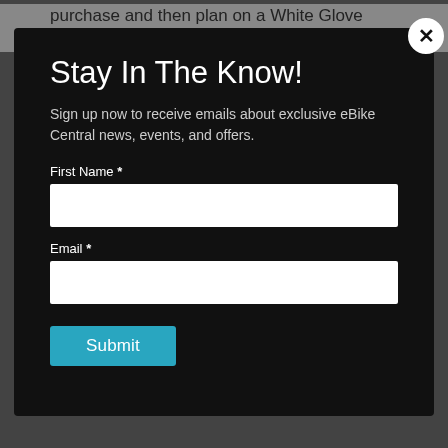purchase and then plan on a White Glove delivery to your driveway!
Stay In The Know!
Sign up now to receive emails about exclusive eBike Central news, events, and offers.
First Name *
Email *
Submit